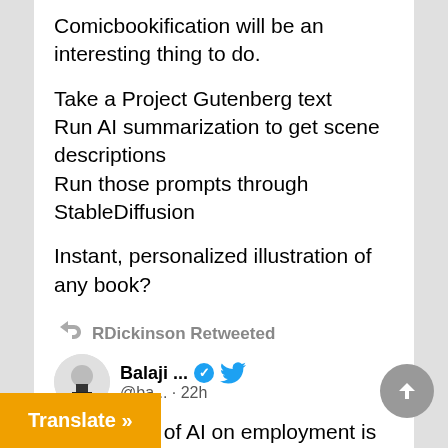Comicbookification will be an interesting thing to do.
Take a Project Gutenberg text
Run AI summarization to get scene descriptions
Run those prompts through StableDiffusion
Instant, personalized illustration of any book?
13  213
RDickinson Retweeted
Balaji ... @ba... · 22h
The impact of AI on employment is non-s. It doesn't just end